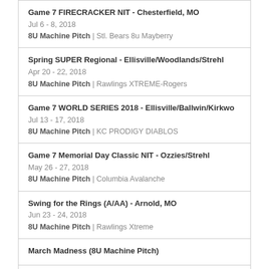Game 7 FIRECRACKER NIT - Chesterfield, MO
Jul 6 - 8, 2018
8U Machine Pitch | Stl. Bears 8u Mayberry
Spring SUPER Regional - Ellisville/Woodlands/Strehl
Apr 20 - 22, 2018
8U Machine Pitch | Rawlings XTREME-Rogers
Game 7 WORLD SERIES 2018 - Ellisville/Ballwin/Kirkwo
Jul 13 - 17, 2018
8U Machine Pitch | KC PRODIGY DIABLOS
Game 7 Memorial Day Classic NIT - Ozzies/Strehl
May 26 - 27, 2018
8U Machine Pitch | Columbia Avalanche
Swing for the Rings (A/AA) - Arnold, MO
Jun 23 - 24, 2018
8U Machine Pitch | Rawlings Xtreme
March Madness (8U Machine Pitch)